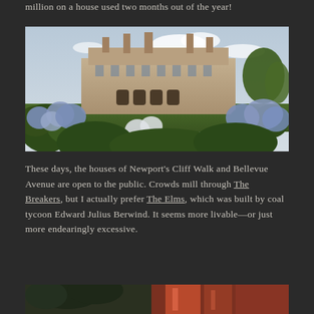million on a house used two months out of the year!
[Figure (photo): Large Gilded Age mansion (The Breakers or similar Newport mansion) photographed from the lawn, with blooming blue and white hydrangeas in the foreground and trees to the right side.]
These days, the houses of Newport's Cliff Walk and Bellevue Avenue are open to the public. Crowds mill through The Breakers, but I actually prefer The Elms, which was built by coal tycoon Edward Julius Berwind. It seems more livable—or just more endearingly excessive.
[Figure (photo): Partial view of another Newport mansion interior or exterior, cropped at bottom of page.]